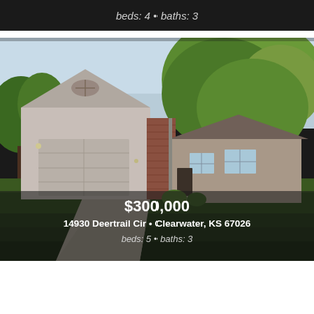beds: 4 • baths: 3
[Figure (photo): Exterior photo of a single-story ranch-style home with a large two-car garage, brick and siding exterior, and large trees in the foreground and background. Address: 14930 Deertrail Cir, Clearwater, KS 67026. Price: $300,000.]
$300,000
14930 Deertrail Cir • Clearwater, KS 67026
beds: 5 • baths: 3